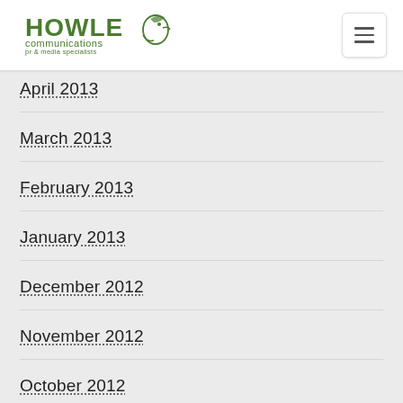Howle Communications - pr & media specialists
April 2013
March 2013
February 2013
January 2013
December 2012
November 2012
October 2012
May 2012